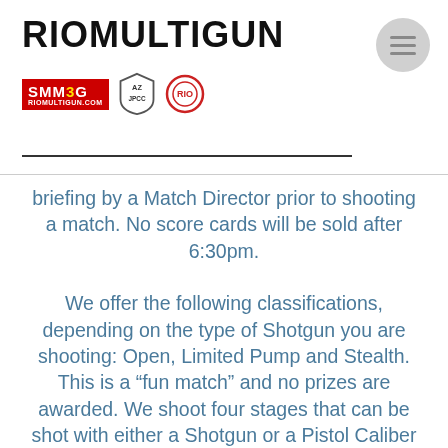RIOMULTIGUN
briefing by a Match Director prior to shooting a match. No score cards will be sold after 6:30pm. We offer the following classifications, depending on the type of Shotgun you are shooting: Open, Limited Pump and Stealth. This is a “fun match” and no prizes are awarded. We shoot four stages that can be shot with either a Shotgun or a Pistol Caliber Carbine Rifle. Targets used are IPSC style paper, steel plates, poppers, both static and flying clay targets. The courses of fire are challenging and require movement from shooting positions.